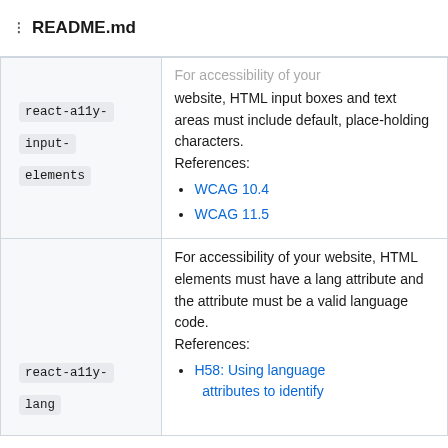README.md
| Component | Description |
| --- | --- |
| react-a11y-input-elements | For accessibility of your website, HTML input boxes and text areas must include default, place-holding characters. References: WCAG 10.4, WCAG 11.5 |
| react-a11y-lang | For accessibility of your website, HTML elements must have a lang attribute and the attribute must be a valid language code. References: H58: Using language attributes to identify |